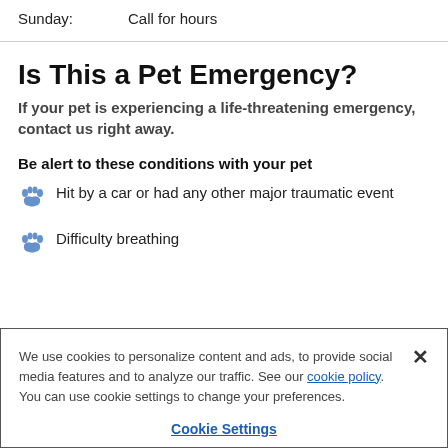Sunday: Call for hours
Is This a Pet Emergency?
If your pet is experiencing a life-threatening emergency, contact us right away.
Be alert to these conditions with your pet
Hit by a car or had any other major traumatic event
Difficulty breathing
We use cookies to personalize content and ads, to provide social media features and to analyze our traffic. See our cookie policy. You can use cookie settings to change your preferences.
Cookie Settings